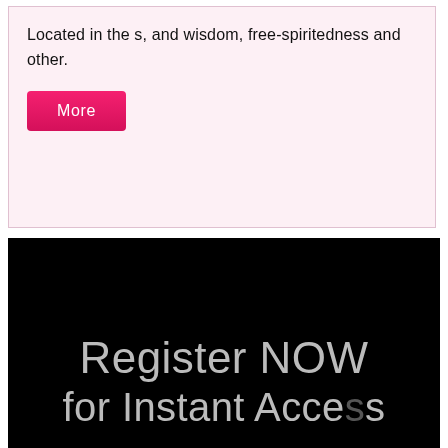Located in the s, and wisdom, free-spiritedness and other.
[Figure (other): Pink 'More' button]
[Figure (other): Black banner with white text reading 'Register NOW for Instant Access']